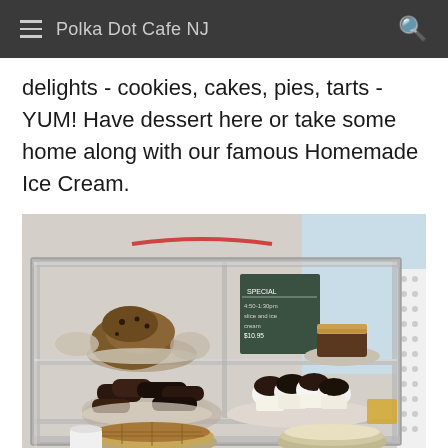Polka Dot Cafe NJ
delights - cookies, cakes, pies, tarts - YUM! Have dessert here or take some home along with our famous Homemade Ice Cream.
[Figure (photo): A glass bakery display case showing multiple shelves with baked goods including muffins, cookies, chocolate treats, pies, and cakes on plates. A chalkboard special sign is visible inside the case.]